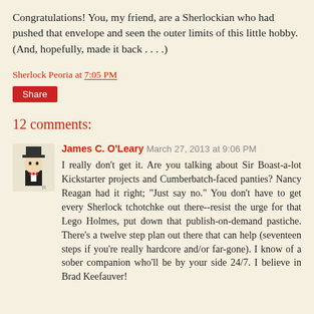Congratulations! You, my friend, are a Sherlockian who had pushed that envelope and seen the outer limits of this little hobby. (And, hopefully, made it back . . . .)
Sherlock Peoria at 7:05 PM
Share
12 comments:
James C. O'Leary March 27, 2013 at 9:06 PM
I really don't get it. Are you talking about Sir Boast-a-lot Kickstarter projects and Cumberbatch-faced panties? Nancy Reagan had it right; "Just say no." You don't have to get every Sherlock tchotchke out there--resist the urge for that Lego Holmes, put down that publish-on-demand pastiche. There's a twelve step plan out there that can help (seventeen steps if you're really hardcore and/or far-gone). I know of a sober companion who'll be by your side 24/7. I believe in Brad Keefauver!
[Figure (illustration): Small avatar illustration of a cartoon character in a tuxedo/formal wear]